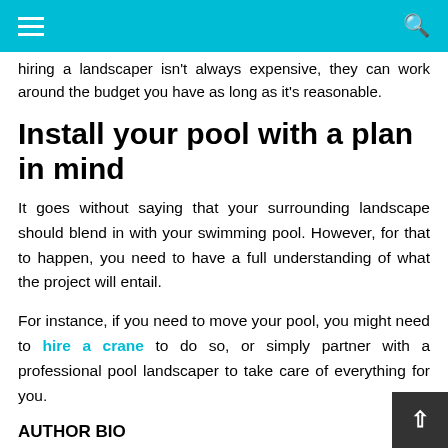[hamburger menu] [search icon]
hiring a landscaper isn't always expensive, they can work around the budget you have as long as it's reasonable.
Install your pool with a plan in mind
It goes without saying that your surrounding landscape should blend in with your swimming pool. However, for that to happen, you need to have a full understanding of what the project will entail.
For instance, if you need to move your pool, you might need to hire a crane to do so, or simply partner with a professional pool landscaper to take care of everything for you.
AUTHOR BIO